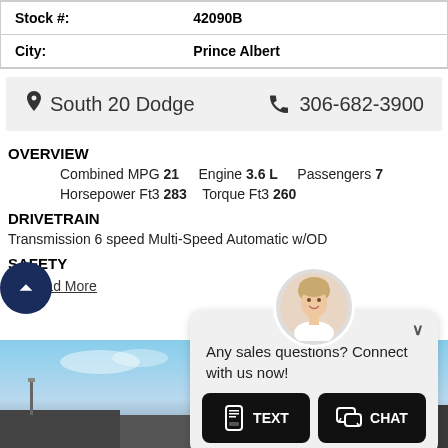| Stock #: | 42090B |
| City: | Prince Albert |
📍 South 20 Dodge    ☎ 306-682-3900
OVERVIEW
Combined MPG 21    Engine 3.6 L    Passengers 7
Horsepower Ft3 283    Torque Ft3 260
DRIVETRAIN
Transmission 6 speed Multi-Speed Automatic w/OD
SAFETY
.....Read More
Any sales questions? Connect with us now!
TEXT   CHAT